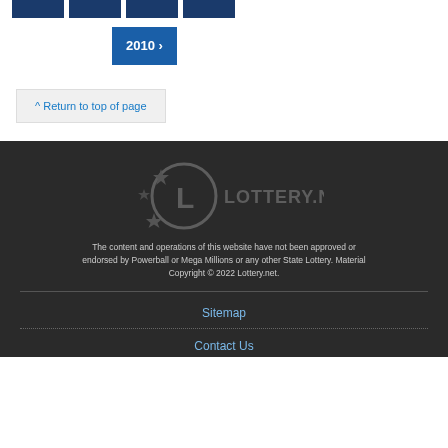[Figure (other): Row of four dark blue year navigation buttons at top of page]
[Figure (other): Dark blue active 2010 button with chevron]
^ Return to top of page
[Figure (logo): Lottery.net logo with stars and clock/L icon in gray on dark background]
The content and operations of this website have not been approved or endorsed by Powerball or Mega Millions or any other State Lottery. Material Copyright © 2022 Lottery.net.
Sitemap
Contact Us